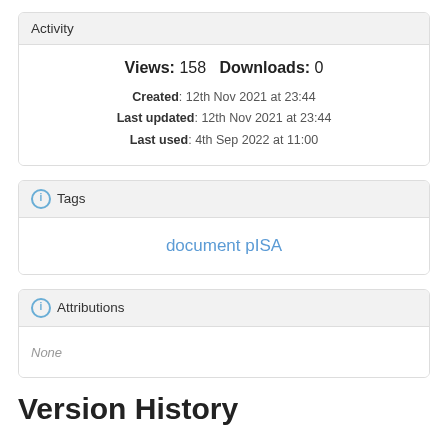Activity
Views: 158   Downloads: 0
Created: 12th Nov 2021 at 23:44
Last updated: 12th Nov 2021 at 23:44
Last used: 4th Sep 2022 at 11:00
Tags
document pISA
Attributions
None
Version History